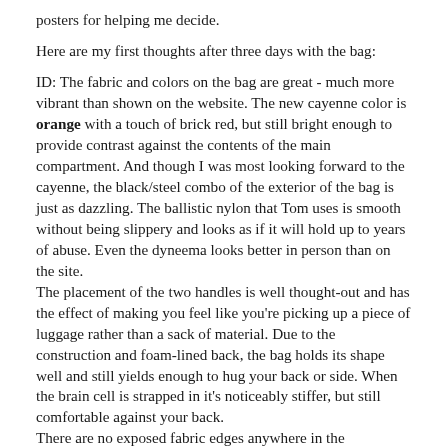posters for helping me decide.
Here are my first thoughts after three days with the bag:
ID: The fabric and colors on the bag are great - much more vibrant than shown on the website. The new cayenne color is orange with a touch of brick red, but still bright enough to provide contrast against the contents of the main compartment. And though I was most looking forward to the cayenne, the black/steel combo of the exterior of the bag is just as dazzling. The ballistic nylon that Tom uses is smooth without being slippery and looks as if it will hold up to years of abuse. Even the dyneema looks better in person than on the site.
The placement of the two handles is well thought-out and has the effect of making you feel like you're picking up a piece of luggage rather than a sack of material. Due to the construction and foam-lined back, the bag holds its shape well and still yields enough to hug your back or side. When the brain cell is strapped in it's noticeably stiffer, but still comfortable against your back.
There are no exposed fabric edges anywhere in the construction. This is something I didn't consider in my old bag until I realized that cheaper seamwork is a nice place for dust and dirt to live in, and bits of nylon thread would ended up clogging the velcro. Also, I love having a bag with no velcro! The single-snap enclosure is bigger than I expected, and as a result, it's easy to open or close with one